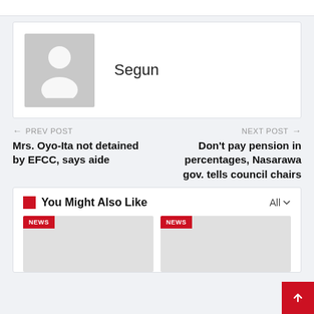[Figure (illustration): Author avatar placeholder with silhouette icon and name 'Segun']
Segun
← PREV POST
Mrs. Oyo-Ita not detained by EFCC, says aide
NEXT POST →
Don't pay pension in percentages, Nasarawa gov. tells council chairs
You Might Also Like
[Figure (photo): NEWS thumbnail placeholder 1]
[Figure (photo): NEWS thumbnail placeholder 2]